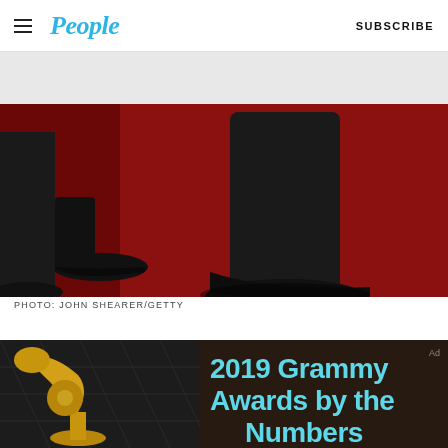People | SUBSCRIBE
[Figure (photo): Close-up photo of feet/shoes on a red carpet. One person wearing black dress shoes on the left, another wearing black heeled boots on the right, both standing on red carpet with white baseboard visible in background.]
PHOTO: JOHN SHEARER/GETTY
[Figure (photo): Promotional image for '2019 Grammy Awards by the Numbers' showing a gold Grammy award trophy on the left against a dark quilted background, with large light blue bold text overlay reading '2019 Grammy Awards by the Numbers'. 'Ad' label in upper right corner.]